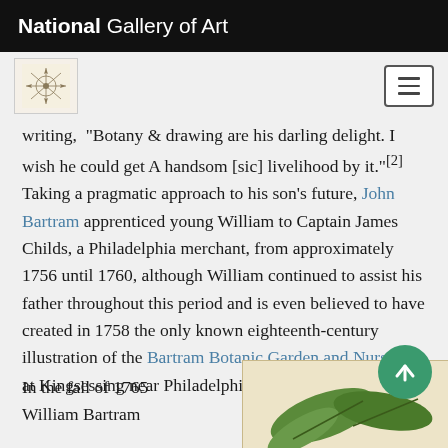National Gallery of Art
writing, "Botany & drawing are his darling delight. I wish he could get A handsom [sic] livelihood by it."[2] Taking a pragmatic approach to his son's future, John Bartram apprenticed young William to Captain James Childs, a Philadelphia merchant, from approximately 1756 until 1760, although William continued to assist his father throughout this period and is even believed to have created in 1758 the only known eighteenth-century illustration of the Bartram Botanic Garden and Nursery at Kingsessing near Philadelphia [Fig. 1].
In the fall of 1765 William Bartram
[Figure (illustration): Partial view of a botanical illustration showing green leaves on a cream/beige background]